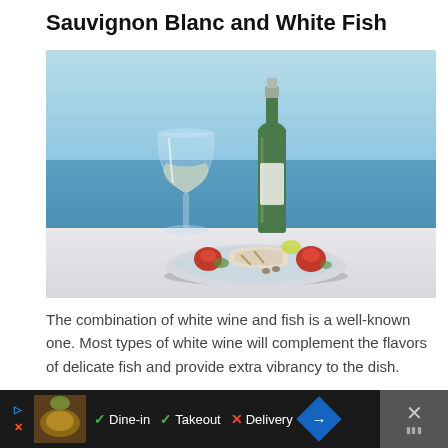Sauvignon Blanc and White Fish
[Figure (photo): A white wine glass and wine bottle on a table with a plate of white fish and vegetables, ocean and sky in background]
The combination of white wine and fish is a well-known one. Most types of white wine will complement the flavors of delicate fish and provide extra vibrancy to the dish.
[Figure (other): Advertisement bar showing food image with Dine-in, Takeout, Delivery options and navigation arrow]